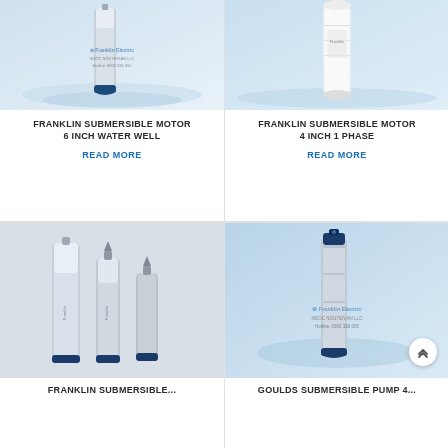[Figure (photo): Franklin Electric 6-inch submersible motor water well pump, tall cylindrical silver/grey unit with blue bottom cap, watermark overlay with Franklin Electric logo and NGOC NGUYEN AN LLC hotline]
FRANKLIN SUBMERSIBLE MOTOR 6 INCH WATER WELL
READ MORE
[Figure (photo): Franklin Electric 4-inch 1-phase submersible motor, white cylindrical unit on blue water background]
FRANKLIN SUBMERSIBLE MOTOR 4 INCH 1 PHASE
READ MORE
[Figure (photo): Three Franklin Electric submersible pump motors of varying sizes displayed side by side, silver/grey cylindrical units with blue end caps]
FRANKLIN SUBMERSIBLE...
[Figure (photo): Franklin Electric submersible pump motor on blue background with Franklin Electric logo watermark and NGOC NGUYEN AN LLC hotline text]
GOULDS SUBMERSIBLE PUMP 4...